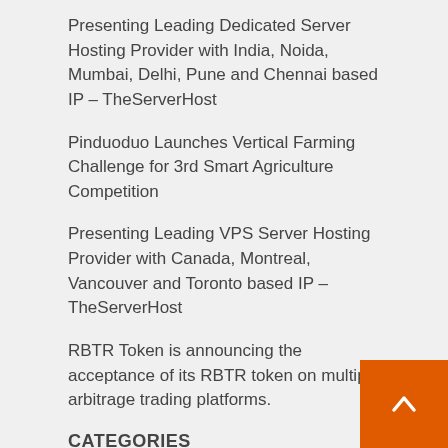Presenting Leading Dedicated Server Hosting Provider with India, Noida, Mumbai, Delhi, Pune and Chennai based IP – TheServerHost
Pinduoduo Launches Vertical Farming Challenge for 3rd Smart Agriculture Competition
Presenting Leading VPS Server Hosting Provider with Canada, Montreal, Vancouver and Toronto based IP – TheServerHost
RBTR Token is announcing the acceptance of its RBTR token on multiple arbitrage trading platforms.
CATEGORIES
Business
Entertaiment